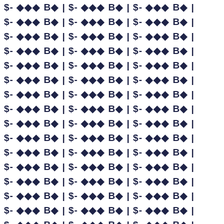$- ◆◆◆ B◆ | $- ◆◆◆ B◆ | $- ◆◆◆ B◆ |
$- ◆◆◆ B◆ | $- ◆◆◆ B◆ | $- ◆◆◆ B◆ |
$- ◆◆◆ B◆ | $- ◆◆◆ B◆ | $- ◆◆◆ B◆ |
$- ◆◆◆ B◆ | $- ◆◆◆ B◆ | $- ◆◆◆ B◆ |
$- ◆◆◆ B◆ | $- ◆◆◆ B◆ | $- ◆◆◆ B◆ |
$- ◆◆◆ B◆ | $- ◆◆◆ B◆ | $- ◆◆◆ B◆ |
$- ◆◆◆ B◆ | $- ◆◆◆ B◆ | $- ◆◆◆ B◆ |
$- ◆◆◆ B◆ | $- ◆◆◆ B◆ | $- ◆◆◆ B◆ |
$- ◆◆◆ B◆ | $- ◆◆◆ B◆ | $- ◆◆◆ B◆ |
$- ◆◆◆ B◆ | $- ◆◆◆ B◆ | $- ◆◆◆ B◆ |
$- ◆◆◆ B◆ | $- ◆◆◆ B◆ | $- ◆◆◆ B◆ |
$- ◆◆◆ B◆ | $- ◆◆◆ B◆ | $- ◆◆◆ B◆ |
$- ◆◆◆ B◆ | $- ◆◆◆ B◆ | $- ◆◆◆ B◆ |
$- ◆◆◆ B◆ | $- ◆◆◆ B◆ | $- ◆◆◆ B◆ |
$- ◆◆◆ B◆ | $- ◆◆◆ B◆ | $- ◆◆◆ B◆ |
$- ◆◆◆ B◆ | $- ◆◆◆ B◆ | $- ◆◆◆ B◆ |